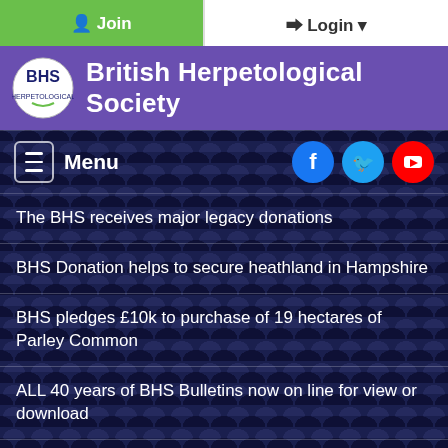Join | Login
British Herpetological Society
Menu
The BHS receives major legacy donations
BHS Donation helps to secure heathland in Hampshire
BHS pledges £10k to purchase of 19 hectares of Parley Common
ALL 40 years of BHS Bulletins now on line for view or download
More News...